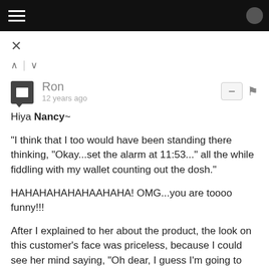≡
×
^ | v
Ron
12 years ago
Hiya Nancy~

"I think that I too would have been standing there thinking, "Okay...set the alarm at 11:53..." all the while fiddling with my wallet counting out the dosh."

HAHAHAHAHAHAHAAHAHA! OMG...you are toooo funny!!!

After I explained to her about the product, the look on this customer's face was priceless, because I could see her mind saying, "Oh dear, I guess I'm going to have to stay up until MIDNIGHT!"

Bwhahahahahahahahaha!